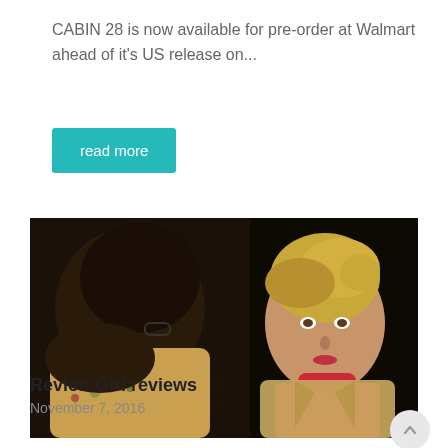CABIN 28 is now available for pre-order at Walmart ahead of it's US release on...
read more
[Figure (photo): Two women facing each other in a dramatic scene — one with dark hair seen from behind wearing a floral outfit, the other facing forward with blonde hair wearing a red turtleneck and tan/gold blazer, against a dark background.]
Revlon Girl reviews
November 7, 2016